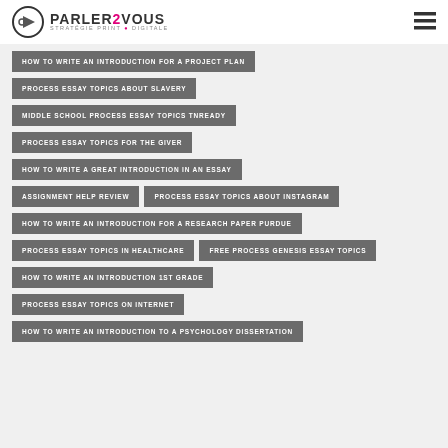PARLER2VOUS STRATÉGIE PRINT & DIGITALE
HOW TO WRITE AN INTRODUCTION FOR A PROJECT PLAN
PROCESS ESSAY TOPICS ABOUT SLAVERY
MIDDLE SCHOOL PROCESS ESSAY TOPICS TNREADY
PROCESS ESSAY TOPICS FOR THE GIVER
HOW TO WRITE A GREAT INTRODUCTION IN AN ESSAY
ASSIGNMENT HELP REVIEW
PROCESS ESSAY TOPICS ABOUT INSTAGRAM
HOW TO WRITE AN INTRODUCTION FOR A RESEARCH PAPER PURDUE
PROCESS ESSAY TOPICS IN HEALTHCARE
FREE PROCESS GENESIS ESSAY TOPICS
HOW TO WRITE AN INTRODUCTION 1ST GRADE
PROCESS ESSAY TOPICS ON INTERNET
HOW TO WRITE AN INTRODUCTION TO A PSYCHOLOGY DISSERTATION